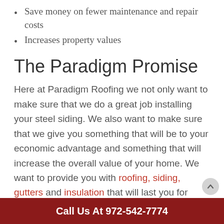Save money on fewer maintenance and repair costs
Increases property values
The Paradigm Promise
Here at Paradigm Roofing we not only want to make sure that we do a great job installing your steel siding. We also want to make sure that we give you something that will be to your economic advantage and something that will increase the overall value of your home. We want to provide you with roofing, siding, gutters and insulation that will last you for years to come.
If you would like more information about metal siding installation or if you would like to set up a free
Call Us At 972-542-7774